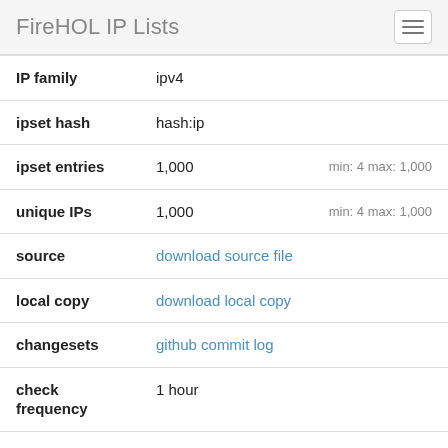FireHOL IP Lists
| Field | Value | Extra |
| --- | --- | --- |
| IP family | ipv4 |  |
| ipset hash | hash:ip |  |
| ipset entries | 1,000 | min: 4 max: 1,000 |
| unique IPs | 1,000 | min: 4 max: 1,000 |
| source | download source file |  |
| local copy | download local copy |  |
| changesets | github commit log |  |
| check frequency | 1 hour |  |
| average update frequency | 2 hours and 16 minutes |  |
| aggregation | none |  |